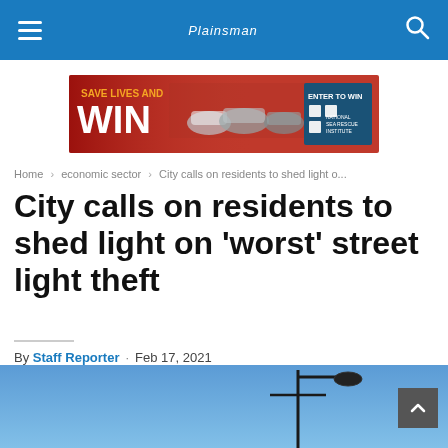Plainsman
[Figure (other): Advertisement banner: 'SAVE LIVES AND WIN' with cars and 'ENTER TO WIN - NATIONAL SEA RESCUE INSTITUTE' branding on red background]
Home › economic sector › City calls on residents to shed light o...
City calls on residents to shed light on 'worst' street light theft
By Staff Reporter · Feb 17, 2021
[Figure (photo): Photo of a street light pole against a blue sky, partially visible at bottom of page]